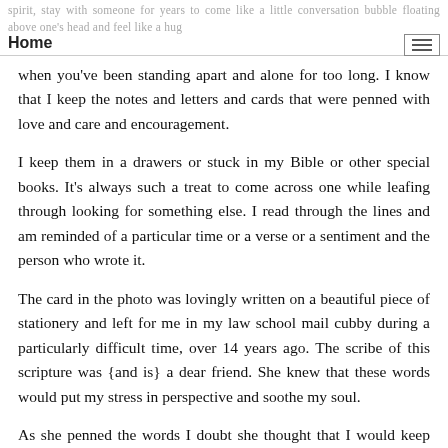spirit, stay with someone for years to come like a little conversation bubble floating above one's head and feel like a hug when you've been standing apart and alone for too long. I know that I keep the notes and letters and cards that were penned with love and care and encouragement. Home
when you've been standing apart and alone for too long. I know that I keep the notes and letters and cards that were penned with love and care and encouragement.
I keep them in a drawers or stuck in my Bible or other special books. It's always such a treat to come across one while leafing through looking for something else. I read through the lines and am reminded of a particular time or a verse or a sentiment and the person who wrote it.
The card in the photo was lovingly written on a beautiful piece of stationery and left for me in my law school mail cubby during a particularly difficult time, over 14 years ago. The scribe of this scripture was {and is} a dear friend. She knew that these words would put my stress in perspective and soothe my soul.
As she penned the words I doubt she thought that I would keep this note for so many years; thinking of it often and referring to it from time to time to actually see the words and be reminded of